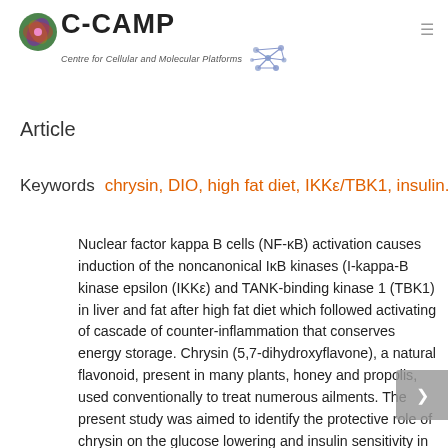[Figure (logo): C-CAMP logo with circular cell/molecule icon, bold C-CAMP text, subtitle 'Centre for Cellular and Molecular Platforms', and a molecule illustration on the right]
Article
Keywords  chrysin, DIO, high fat diet, IKKε/TBK1, insulin.
Nuclear factor kappa B cells (NF-κB) activation causes induction of the noncanonical IκB kinases (I-kappa-B kinase epsilon (IKKε) and TANK-binding kinase 1 (TBK1) in liver and fat after high fat diet which followed activating of cascade of counter-inflammation that conserves energy storage. Chrysin (5,7-dihydroxyflavone), a natural flavonoid, present in many plants, honey and propolis, used conventionally to treat numerous ailments. The present study was aimed to identify the protective role of chrysin on the glucose lowering and insulin sensitivity in diet induced obese (DIO) mice by regulating IKKε/TBK1. Chrysin administered